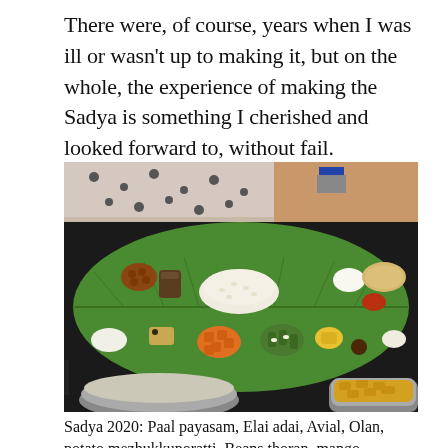There were, of course, years when I was ill or wasn't up to making it, but on the whole, the experience of making the Sadya is something I cherished and looked forward to, without fail.
[Figure (photo): Top-down photograph of a traditional Kerala Sadya meal served on a green banana leaf. Various dishes arranged on the leaf: rice in the center, with small portions of multiple side dishes including beans, avial, olan, pumpkin curry, beans thoran, mango, pappadam, and other accompaniments. Bowls visible at the bottom.]
Sadya 2020: Paal payasam, Elai adai, Avial, Olan, potato mezhukkuporatti, Beans thoran, mango...